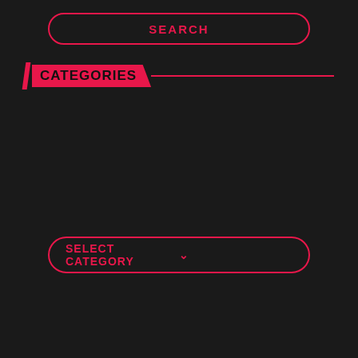SEARCH
CATEGORIES
SELECT CATEGORY
[Figure (infographic): Blue banner with text: Live Ticket Chat Support click Here / FILE REQUEST or Any question / Fill your request here and our team will try to post this material on the site]
[Figure (infographic): Green banner with text: HOW TO BUY PREMIUM MEMBERSHIP STEP BY STEP / EMAIL: SUPPORT@WORLDFREEWARE.COM]